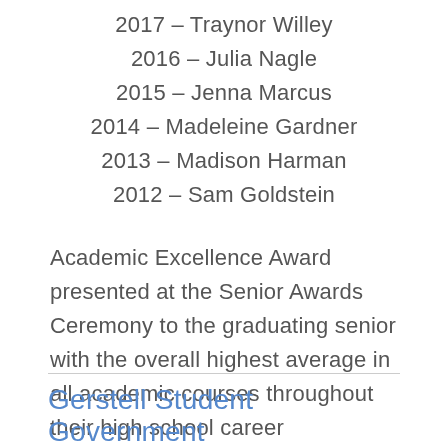2017 – Traynor Willey
2016 – Julia Nagle
2015 – Jenna Marcus
2014 – Madeleine Gardner
2013 – Madison Harman
2012 – Sam Goldstein
Academic Excellence Award presented at the Senior Awards Ceremony to the graduating senior with the overall highest average in all academic courses throughout their high school career
Gerstell Student Government